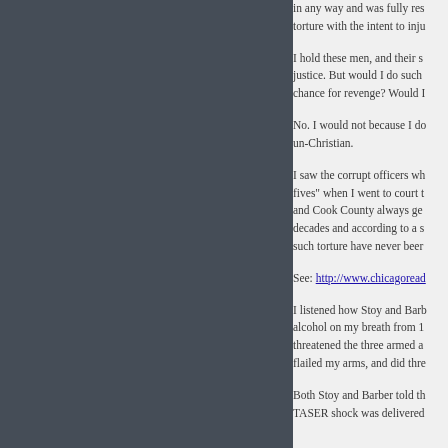in any way and was fully res... torture with the intent to inju...
I hold these men, and their s... justice. But would I do such... chance for revenge? Would I...
No. I would not because I do... un-Christian.
I saw the corrupt officers wh... fives" when I went to court t... and Cook County always ge... decades and according to a s... such torture have never beer...
See: http://www.chicagoreac...
I listened how Stoy and Barb... alcohol on my breath from 1... threatened the three armed a... flailed my arms, and did thre...
Both Stoy and Barber told th... TASER shock was delivered...